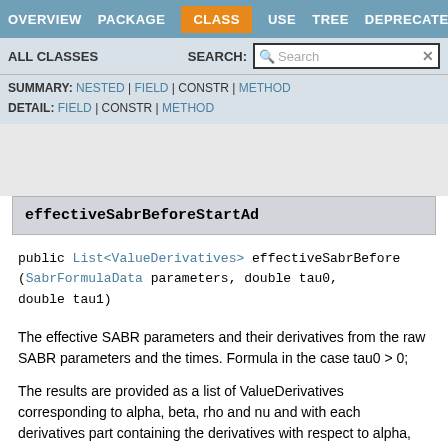OVERVIEW  PACKAGE  CLASS  USE  TREE  DEPRECATED
ALL CLASSES    SEARCH:
SUMMARY: NESTED | FIELD | CONSTR | METHOD
DETAIL: FIELD | CONSTR | METHOD
effectiveSabrBeforeStartAd
public List<ValueDerivatives> effectiveSabrBefore(SabrFormulaData parameters, double tau0, double tau1)
The effective SABR parameters and their derivatives from the raw SABR parameters and the times. Formula in the case tau0 > 0;
The results are provided as a list of ValueDerivatives corresponding to alpha, beta, rho and nu and with each derivatives part containing the derivatives with respect to alpha,